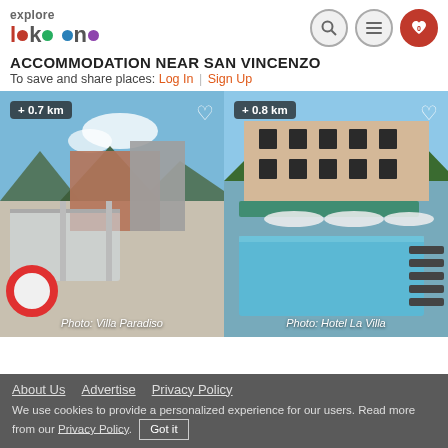[Figure (logo): Explore Lake Como logo with colored dots and text]
ACCOMMODATION NEAR SAN VINCENZO
To save and share places: Log In | Sign Up
[Figure (photo): Photo of Villa Paradiso, distance +0.7 km]
[Figure (photo): Photo of Hotel La Villa with pool, distance +0.8 km]
About Us  Advertise  Privacy Policy
We use cookies to provide a personalized experience for our users. Read more from our Privacy Policy. Got it